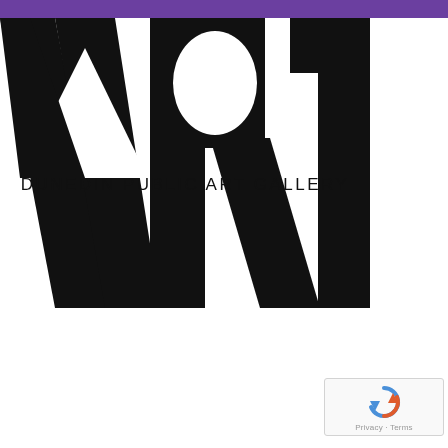[Figure (logo): Dunedin Public Art Gallery logo: large stylized 'ART' letters in black with 'DUNEDIN PUBLIC ART GALLERY' text centered below, purple bar across top]
[Figure (other): reCAPTCHA widget with circular arrow icon and 'Privacy - Terms' text]